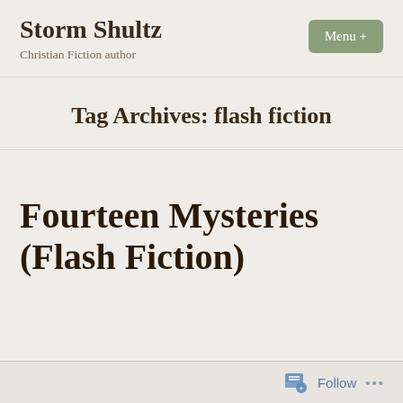Storm Shultz — Christian Fiction author — Menu +
Tag Archives: flash fiction
Fourteen Mysteries (Flash Fiction)
Follow ...